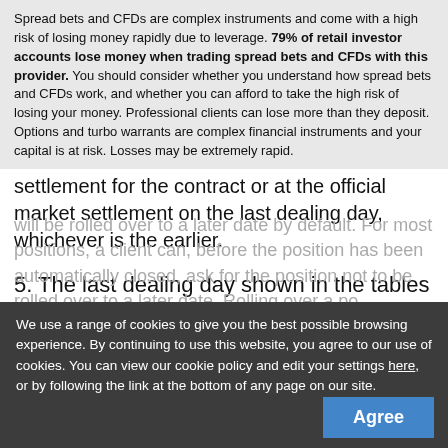Spread bets and CFDs are complex instruments and come with a high risk of losing money rapidly due to leverage. 79% of retail investor accounts lose money when trading spread bets and CFDs with this provider. You should consider whether you understand how spread bets and CFDs work, and whether you can afford to take the high risk of losing your money. Professional clients can lose more than they deposit.
Options and turbo warrants are complex financial instruments and your capital is at risk. Losses may be extremely rapid.
settlement for the contract or at the official market settlement on the last dealing day, whichever is the earlier.
5. The last dealing day shown in the tables may not always coincide with the last dealing day on the relevant exchange.
will be rolled over to a later date by default. For most positions, a client can, before the position has been automatically closed, ask for the position not to be rolled over to a later date. Rolling over a po
We use a range of cookies to give you the best possible browsing experience. By continuing to use this website, you agree to our use of cookies. You can view our cookie policy and edit your settings here, or by following the link at the bottom of any page on our site.